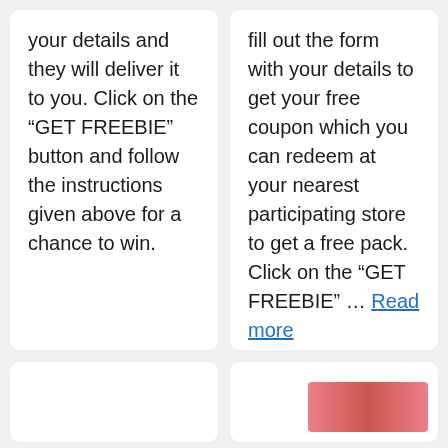your details and they will deliver it to you. Click on the “GET FREEBIE” button and follow the instructions given above for a chance to win.
fill out the form with your details to get your free coupon which you can redeem at your nearest participating store to get a free pack. Click on the “GET FREEBIE” … Read more
[Figure (photo): Partial view of a product (appears to be a red/pink packaged item) visible at the bottom of a card]